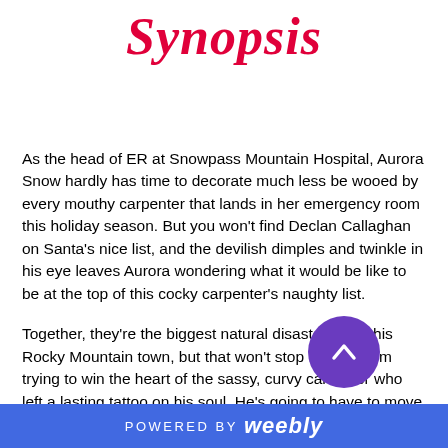Synopsis
As the head of ER at Snowpass Mountain Hospital, Aurora Snow hardly has time to decorate much less be wooed by every mouthy carpenter that lands in her emergency room this holiday season. But you won't find Declan Callaghan on Santa's nice list, and the devilish dimples and twinkle in his eye leaves Aurora wondering what it would be like to be at the top of this cocky carpenter's naughty list.
Together, they're the biggest natural disaster to hit this Rocky Mountain town, but that won't stop Declan from trying to win the heart of the sassy, curvy caregiver who left a lasting tattoo on his soul. He's going to have to move mountains to get Aurora under the mistletoe, but maybe a sprinkle of Christmas magic is all they need to
POWERED BY weebly